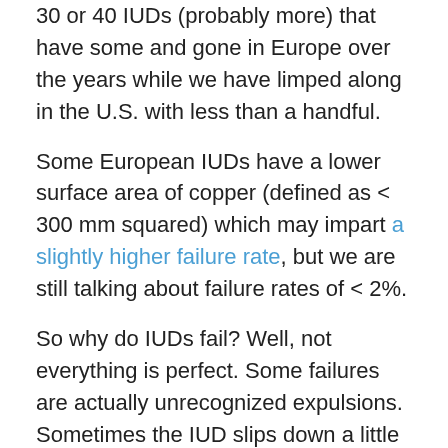30 or 40 IUDs (probably more) that have some and gone in Europe over the years while we have limped along in the U.S. with less than a handful.
Some European IUDs have a lower surface area of copper (defined as < 300 mm squared) which may impart a slightly higher failure rate, but we are still talking about failure rates of < 2%.
So why do IUDs fail? Well, not everything is perfect. Some failures are actually unrecognized expulsions. Sometimes the IUD slips down a little in the uterus so it isn't in an ideal spot and if a copper IUD is sitting too low then there may not be enough copper in the Fallopian tubes to nuke any sperm that shoots past. If someone has a fibroid or a uterine anomaly the IUD may never have be positioned quite right to begin with. A low position may be a risk factor for failure, although it may be less of a concern for the